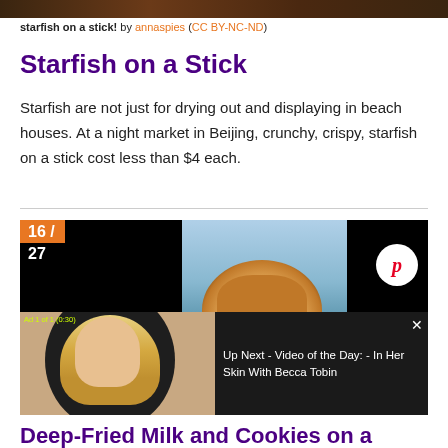[Figure (photo): Top strip of a food photo at night market]
starfish on a stick! by annaspies (CC BY-NC-ND)
Starfish on a Stick
Starfish are not just for drying out and displaying in beach houses. At a night market in Beijing, crunchy, crispy, starfish on a stick cost less than $4 each.
[Figure (screenshot): Slideshow block showing slide 16 of 27, with a dog eating food photo in center and Pinterest share button, overlaid with an ad showing a blonde woman and text: Ad 1 of 1 (0:30) Up Next - Video of the Day: - In Her Skin With Becca Tobin, with close button]
Deep-Fried Milk and Cookies on a Stick